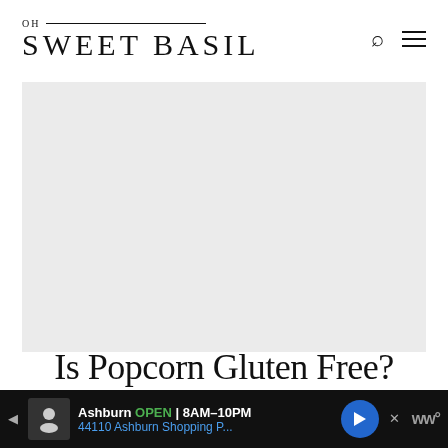OH SWEET BASIL
[Figure (photo): Large light gray placeholder image area for the article]
Is Popcorn Gluten Free?
[Figure (other): Advertisement bar at bottom: Ashburn OPEN 8AM-10PM, 44110 Ashburn Shopping P...]